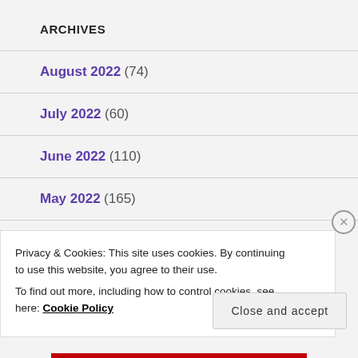ARCHIVES
August 2022 (74)
July 2022 (60)
June 2022 (110)
May 2022 (165)
April 2022 (220)
Privacy & Cookies: This site uses cookies. By continuing to use this website, you agree to their use.
To find out more, including how to control cookies, see here: Cookie Policy
Close and accept